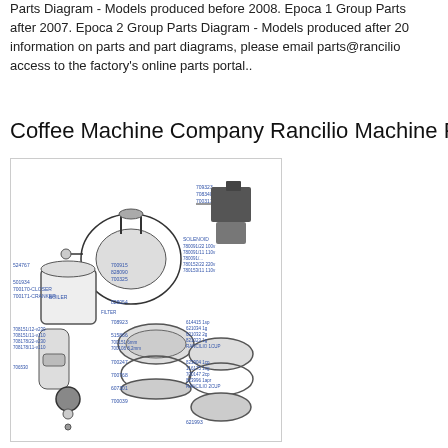Parts Diagram - Models produced before 2008. Epoca 1 Group Parts after 2007. Epoca 2 Group Parts Diagram - Models produced after 2008. information on parts and part diagrams, please email parts@rancilio... access to the factory's online parts portal..
Coffee Machine Company Rancilio Machine Parts
[Figure (engineering-diagram): Exploded parts diagram of a Rancilio espresso machine group head assembly showing numbered components including boiler, group head, solenoid valve, portafilter baskets, and related hardware with part numbers labeled in small blue text.]